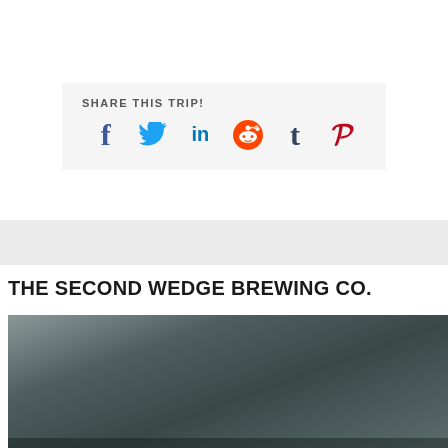SHARE THIS TRIP!
[Figure (infographic): Social sharing icons: Facebook (f), Twitter (bird), LinkedIn (in), Reddit (alien), Tumblr (t), Pinterest (P)]
THE SECOND WEDGE BREWING CO.
[Figure (photo): Dark blurred photo of a brewery interior with text overlay]
Brewery | Tasting Room | Beer Garden | Bottle Shop |
The Second Wedge Brewing Company is temporarily closed